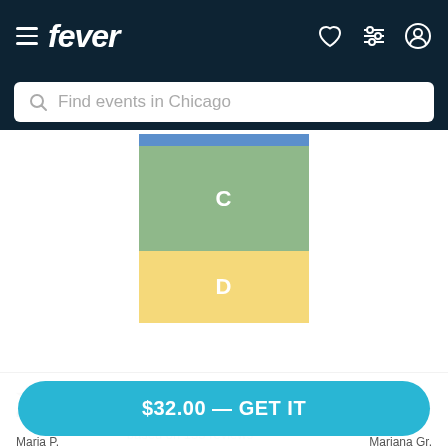fever — Find events in Chicago
[Figure (illustration): Seating chart section labels: blue bar on top, green box labeled C, yellow box labeled D]
User reviews
4.73 /5  based on 153 reviews
$32.00 — GET IT